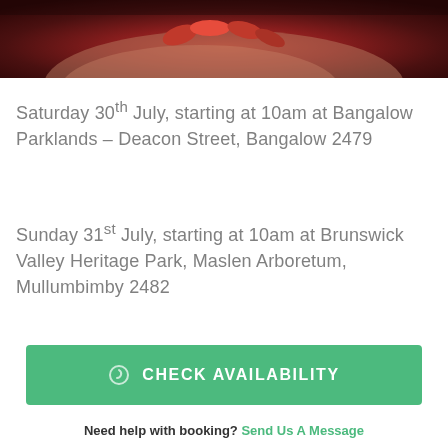[Figure (photo): A hand holding several red chili peppers, close-up photo.]
Saturday 30th July, starting at 10am at Bangalow Parklands – Deacon Street, Bangalow 2479
Sunday 31st July, starting at 10am at Brunswick Valley Heritage Park, Maslen Arboretum, Mullumbimby 2482
CHECK AVAILABILITY
Need help with booking? Send Us A Message